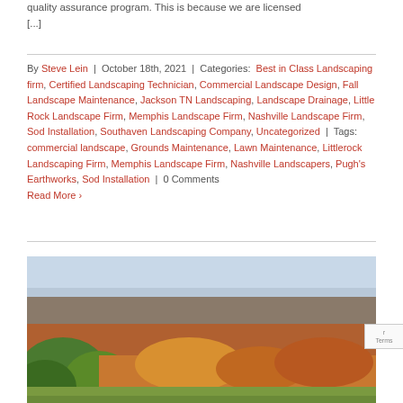quality assurance program. This is because we are licensed [...]
By Steve Lein | October 18th, 2021 | Categories: Best in Class Landscaping firm, Certified Landscaping Technician, Commercial Landscape Design, Fall Landscape Maintenance, Jackson TN Landscaping, Landscape Drainage, Little Rock Landscape Firm, Memphis Landscape Firm, Nashville Landscape Firm, Sod Installation, Southaven Landscaping Company, Uncategorized | Tags: commercial landscape, Grounds Maintenance, Lawn Maintenance, Littlerock Landscaping Firm, Memphis Landscape Firm, Nashville Landscapers, Pugh's Earthworks, Sod Installation | 0 Comments
Read More ›
[Figure (photo): Aerial or elevated view of a forested hillside landscape with autumn foliage colors — green, orange, and yellow trees stretching across hills under a pale blue sky.]